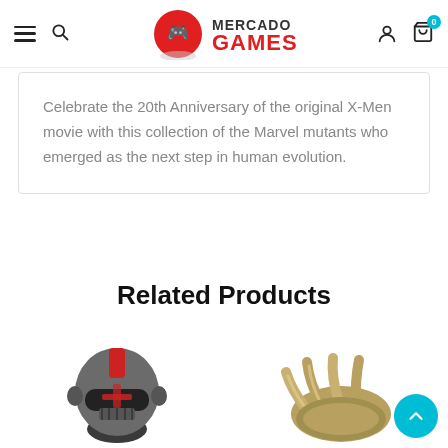Mercado Games
Celebrate the 20th Anniversary of the original X-Men movie with this collection of the Marvel mutants who emerged as the next step in human evolution.
Related Products
[Figure (photo): Funko Pop figure of a Star Wars Bad Batch character with grey and red helmet]
[Figure (photo): Funko Pop figure showing a metallic claw/hand detail]